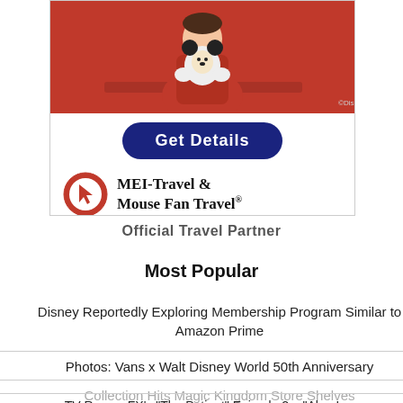[Figure (illustration): Advertisement for MEI-Travel and Mouse Fan Travel showing a person in red holding Mickey Mouse, a 'Get Details' button, and the MEI-Travel & Mouse Fan Travel logo with a circular red arrow icon. ©Disney credit shown.]
Official Travel Partner
Most Popular
Disney Reportedly Exploring Membership Program Similar to Amazon Prime
Photos: Vans x Walt Disney World 50th Anniversary Collection Hits Magic Kingdom Store Shelves
TV Recap: FX's "The Patient" Episode 2 – "Alan Learns